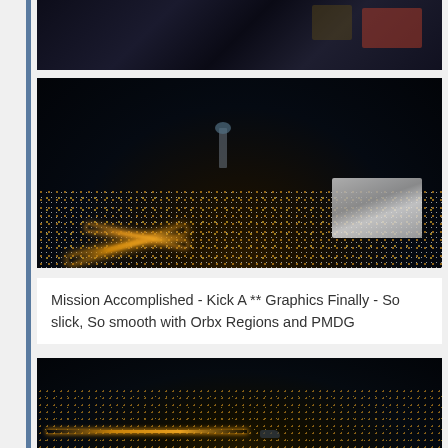[Figure (photo): Partial view of a dark flight simulator cockpit scene at night, showing instrument panels with colorful displays, cut off at top of frame.]
[Figure (photo): Aerial night view from flight simulator showing a city lit up with orange street lights and roads, an airport with lit runways visible at right, and a tower structure in the center. Very dark sky above.]
Mission Accomplished - Kick A ** Graphics Finally - So slick, So smooth with Orbx Regions and PMDG
[Figure (photo): Partial aerial night view from flight simulator showing city lights below and what appears to be an aircraft or tail structure visible at bottom right.]